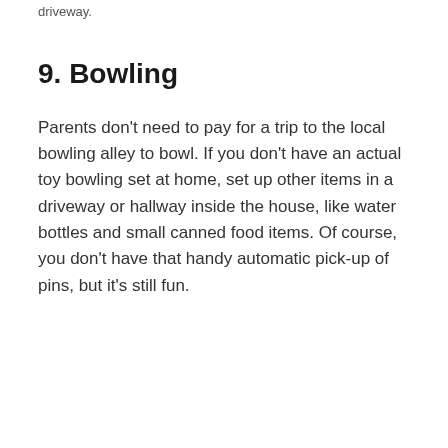driveway.
9. Bowling
Parents don't need to pay for a trip to the local bowling alley to bowl. If you don't have an actual toy bowling set at home, set up other items in a driveway or hallway inside the house, like water bottles and small canned food items. Of course, you don't have that handy automatic pick-up of pins, but it's still fun.